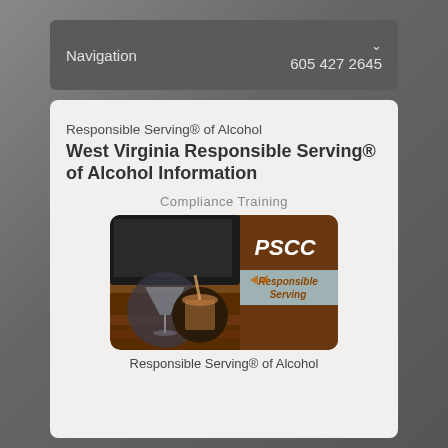Navigation   605 427 2645
Responsible Serving® of Alcohol
West Virginia Responsible Serving® of Alcohol Information
Compliance Training
[Figure (photo): PSCC Responsible Serving promotional image showing cocktail drinks and the text 'PSCC Responsible Serving']
Responsible Serving® of Alcohol